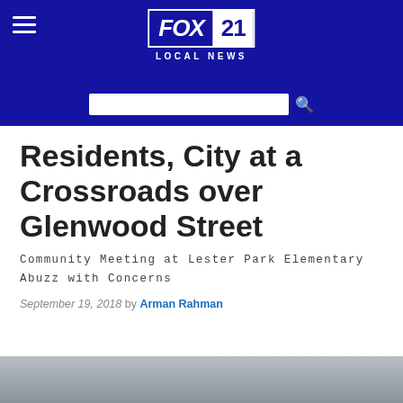FOX 21 LOCAL NEWS
Residents, City at a Crossroads over Glenwood Street
Community Meeting at Lester Park Elementary Abuzz with Concerns
September 19, 2018 by Arman Rahman
[Figure (photo): Partial view of a map or document related to Glenwood Street, partially cropped at bottom of page]